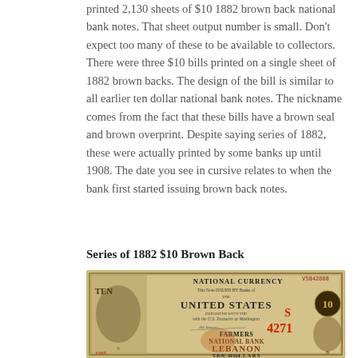printed 2,130 sheets of $10 1882 brown back national bank notes. That sheet output number is small. Don't expect too many of these to be available to collectors. There were three $10 bills printed on a single sheet of 1882 brown backs. The design of the bill is similar to all earlier ten dollar national bank notes. The nickname comes from the fact that these bills have a brown seal and brown overprint. Despite saying series of 1882, these were actually printed by some banks up until 1908. The date you see in cursive relates to when the bank first started issuing brown back notes.
Series of 1882 $10 Brown Back
[Figure (photo): A Series of 1882 $10 Brown Back national bank note from The Farmers National Bank of Lebanon, serial number V5842888, check number 4271, showing 'TEN DOLLARS' and 'NATIONAL CURRENCY' with ornate engravings.]